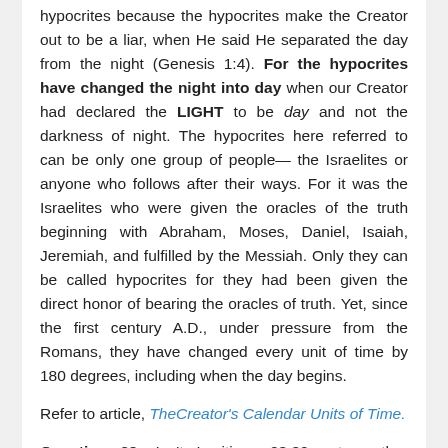hypocrites because the hypocrites make the Creator out to be a liar, when He said He separated the day from the night (Genesis 1:4). For the hypocrites have changed the night into day when our Creator had declared the LIGHT to be day and not the darkness of night. The hypocrites here referred to can be only one group of people— the Israelites or anyone who follows after their ways. For it was the Israelites who were given the oracles of the truth beginning with Abraham, Moses, Daniel, Isaiah, Jeremiah, and fulfilled by the Messiah. Only they can be called hypocrites for they had been given the direct honor of bearing the oracles of truth. Yet, since the first century A.D., under pressure from the Romans, they have changed every unit of time by 180 degrees, including when the day begins.
Refer to article, TheCreator's Calendar Units of Time.
Question 38: Isn't Leviticus 23:32 yet another support for when the "day" begins, commencing at sunset and terminating the following sunset, as it states, "from even unto even shall you celebrate your